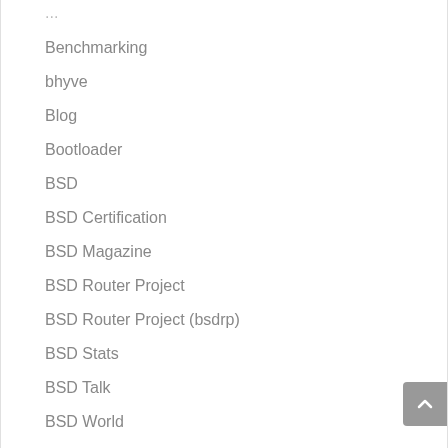Benchmarking
bhyve
Blog
Bootloader
BSD
BSD Certification
BSD Magazine
BSD Router Project
BSD Router Project (bsdrp)
BSD Stats
BSD Talk
BSD World
bsdnow.tv
Cloud